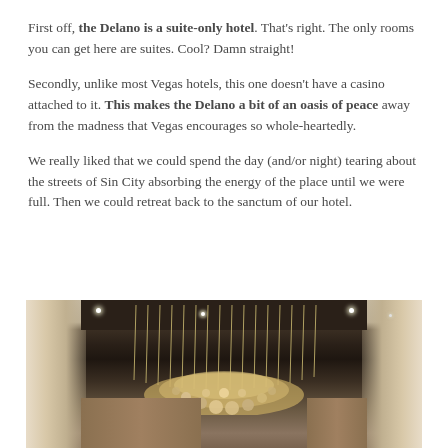First off, the Delano is a suite-only hotel. That's right. The only rooms you can get here are suites. Cool? Damn straight!
Secondly, unlike most Vegas hotels, this one doesn't have a casino attached to it. This makes the Delano a bit of an oasis of peace away from the madness that Vegas encourages so whole-heartedly.
We really liked that we could spend the day (and/or night) tearing about the streets of Sin City absorbing the energy of the place until we were full. Then we could retreat back to the sanctum of our hotel.
[Figure (photo): Interior photo of the Delano hotel lobby showing an elaborate chandelier with hanging crystal strands and a flower-like cluster at the bottom, flanked by white curtains and a dark ceiling with recessed lighting.]